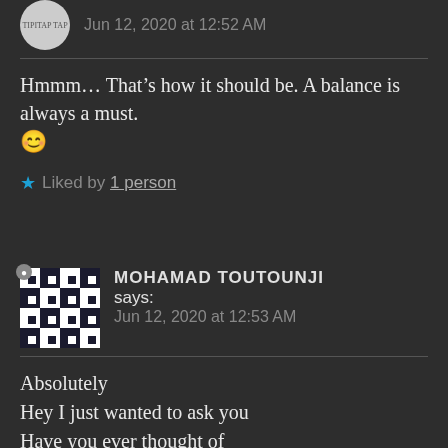Jun 12, 2020 at 12:52 AM
Hmmm… That's how it should be. A balance is always a must. 😊
★ Liked by 1 person
MOHAMAD TOUTOUNJI says:
Jun 12, 2020 at 12:53 AM
Absolutely
Hey I just wanted to ask you
Have you ever thought of practicing martial arts?